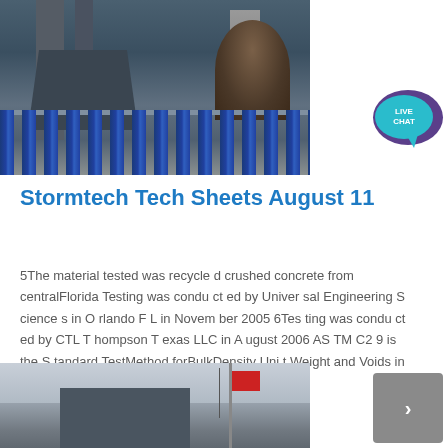[Figure (photo): Industrial facility with large cylindrical pipes/hoppers, blue metal fence in foreground, electrical tower and large dome-shaped structure visible in background]
[Figure (illustration): Live chat widget button — teal circular bubble with 'LIVE CHAT' text and purple speech bubble behind it]
Stormtech Tech Sheets August 11
5The material tested was recycle d crushed concrete from centralFlorida Testing was condu ct ed by Univer sal Engineering S cience s in O rlando F L in Novem ber 2005 6Tes ting was condu ct ed by CTL T hompson T exas LLC in A ugust 2006 AS TM C2 9 is the S tandard TestMethod forBulkDensity Uni t Weight and Voids in Aggregate …
[Figure (photo): Construction site with crane wire, red flag, blue building structures against overcast sky]
[Figure (illustration): Grey scroll/navigation button with right arrow icon]